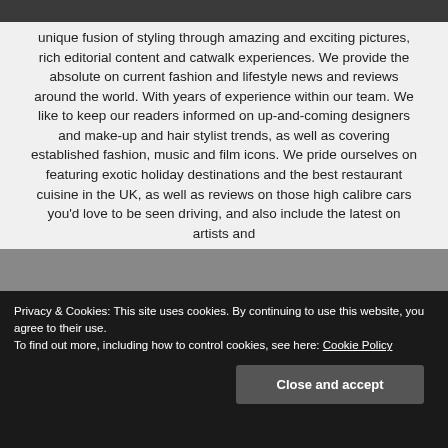unique fusion of styling through amazing and exciting pictures, rich editorial content and catwalk experiences. We provide the absolute on current fashion and lifestyle news and reviews around the world. With years of experience within our team. We like to keep our readers informed on up-and-coming designers and make-up and hair stylist trends, as well as covering established fashion, music and film icons. We pride ourselves on featuring exotic holiday destinations and the best restaurant cuisine in the UK, as well as reviews on those high calibre cars you'd love to be seen driving, and also include the latest on artists and
Privacy & Cookies: This site uses cookies. By continuing to use this website, you agree to their use.
To find out more, including how to control cookies, see here: Cookie Policy
Close and accept